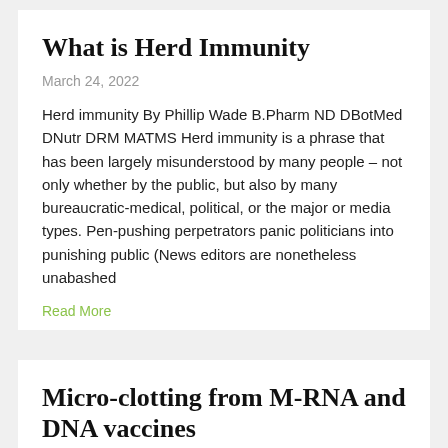What is Herd Immunity
March 24, 2022
Herd immunity By Phillip Wade B.Pharm ND DBotMed DNutr DRM MATMS Herd immunity is a phrase that has been largely misunderstood by many people – not only whether by the public, but also by many bureaucratic-medical, political, or the major or media types. Pen-pushing perpetrators panic politicians into punishing public (News editors are nonetheless unabashed
Read More
Micro-clotting from M-RNA and DNA vaccines